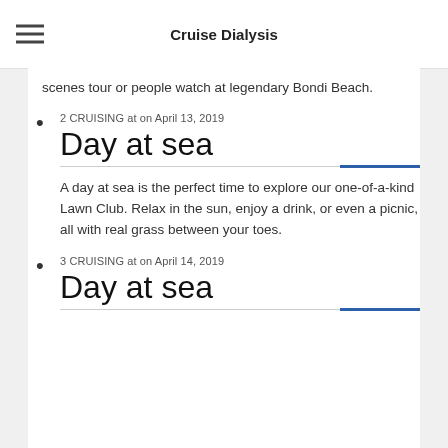Cruise Dialysis
scenes tour or people watch at legendary Bondi Beach.
2 CRUISING at on April 13, 2019
Day at sea
A day at sea is the perfect time to explore our one-of-a-kind Lawn Club. Relax in the sun, enjoy a drink, or even a picnic, all with real grass between your toes.
3 CRUISING at on April 14, 2019
Day at sea